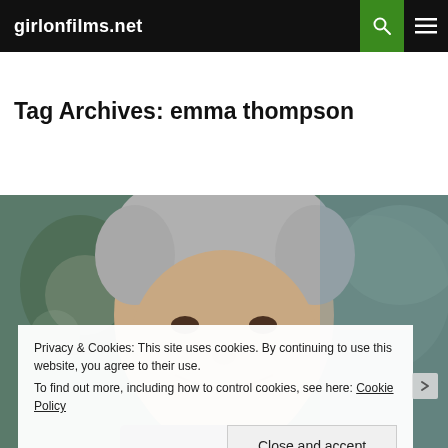girlonfilms.net
Tag Archives: emma thompson
[Figure (photo): Close-up portrait photo of an older man with grey hair, smiling, against a blurred crowd background]
Privacy & Cookies: This site uses cookies. By continuing to use this website, you agree to their use.
To find out more, including how to control cookies, see here: Cookie Policy

[Close and accept]